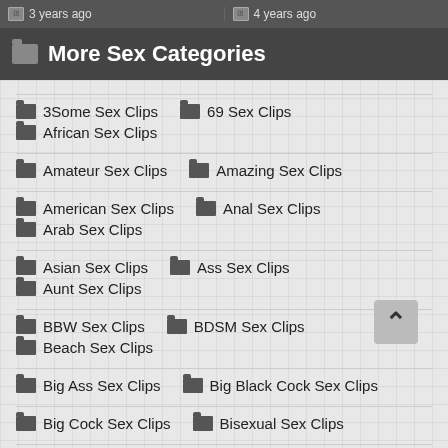3 years ago | 4 years ago
More Sex Categories
3Some Sex Clips
69 Sex Clips
African Sex Clips
Amateur Sex Clips
Amazing Sex Clips
American Sex Clips
Anal Sex Clips
Arab Sex Clips
Asian Sex Clips
Ass Sex Clips
Aunt Sex Clips
BBW Sex Clips
BDSM Sex Clips
Beach Sex Clips
Big Ass Sex Clips
Big Black Cock Sex Clips
Big Cock Sex Clips
Bisexual Sex Clips
Black Sex Clips
Bondage Sex Clips
Bra Sex Clips
Bus Sex Clips
Butt Sex Clips
Cam Sex Clips